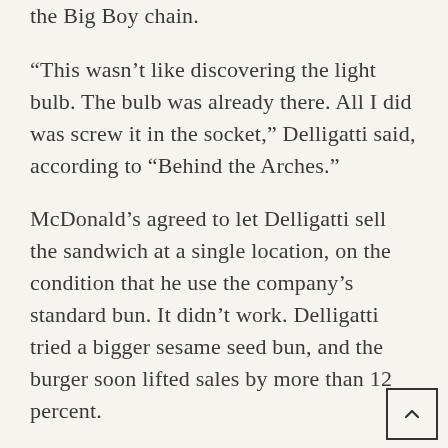the Big Boy chain.
“This wasn’t like discovering the light bulb. The bulb was already there. All I did was screw it in the socket,” Delligatti said, according to “Behind the Arches.”
McDonald’s agreed to let Delligatti sell the sandwich at a single location, on the condition that he use the company’s standard bun. It didn’t work. Delligatti tried a bigger sesame seed bun, and the burger soon lifted sales by more than 12 percent.
After similar results at more stores, the